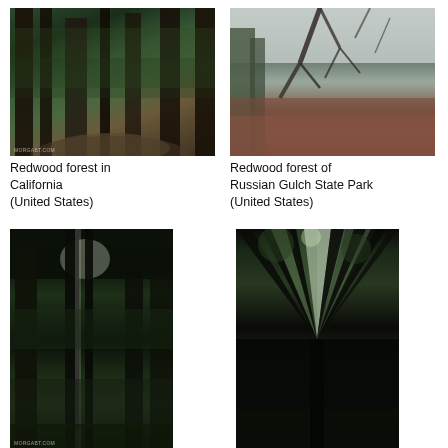[Figure (photo): Redwood forest in California, United States — tall dark redwood tree trunks with forest floor path]
Redwood forest in California (United States)
[Figure (photo): Redwood forest of Russian Gulch State Park, United States — bare winter trees with reddish brown ferns and misty background]
Redwood forest of Russian Gulch State Park (United States)
[Figure (photo): Redwood trees in Big Basin — looking up through tall redwood trunks with light beam]
Redwood trees in Big Basin
[ca big basin 00160]
[Figure (photo): Redwoods along the Sunset Trail in Big Basin — looking straight up through canopy of redwood trees]
Redwoods along the Sunset Trail in Big Basin (United States)